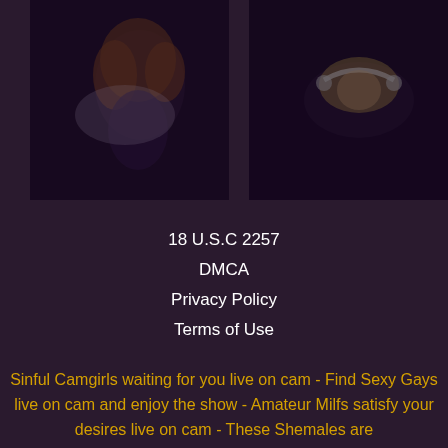[Figure (photo): Two darkened photos side by side: left shows a woman with curly red/blonde hair in dark setting, right shows a woman with headphones lying down in dark setting]
18 U.S.C 2257
DMCA
Privacy Policy
Terms of Use
Sinful Camgirls waiting for you live on cam - Find Sexy Gays live on cam and enjoy the show - Amateur Milfs satisfy your desires live on cam - These Shemales are